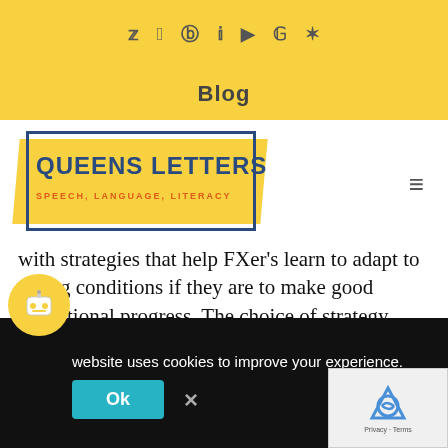Social icons: Twitter, Facebook, Pinterest, LinkedIn, YouTube, Google, Yelp
Blog
[Figure (logo): Queens Letters logo — Speech, Language, Literacy — yellow background with navy blue border and text, orange subtitle]
with strategies that help FXer's learn to adapt to taxing conditions if they are to make good educational progress. The choice of strategy needs to be based on an understanding of what is motivating the behavior. Top notch detective work is required of teachers of children with FXS. Is throwing a shoe an
website uses cookies to improve your experience.
Ok
take out if it's the latter, should take out